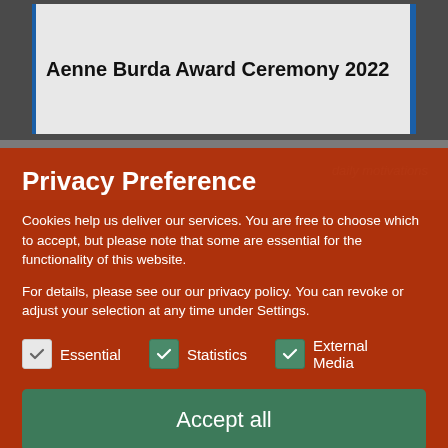Aenne Burda Award Ceremony 2022
Privacy Preference
Cookies help us deliver our services. You are free to choose which to accept, but please note that some are essential for the functionality of this website.
For details, please see our our privacy policy. You can revoke or adjust your selection at any time under Settings.
Essential   Statistics   External Media
Accept all
Save